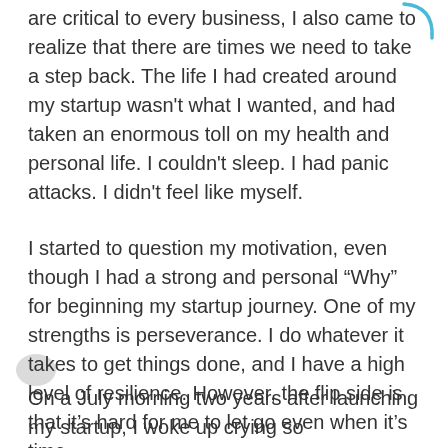are critical to every business, I also came to realize that there are times we need to take a step back. The life I had created around my startup wasn't what I wanted, and had taken an enormous toll on my health and personal life. I couldn't sleep. I had panic attacks. I didn't feel like myself.
I started to question my motivation, even though I had a strong and personal “Why” for beginning my startup journey. One of my strengths is perseverance. I do whatever it takes to get things done, and I have a high level of resilience. However, the flip side is that it’s hard for me to let go even when it's time.
On a July morning two years after launching my startup, I woke up crying so uncontrollably, I couldn’t physically peel myself out of bed. I grabbed the